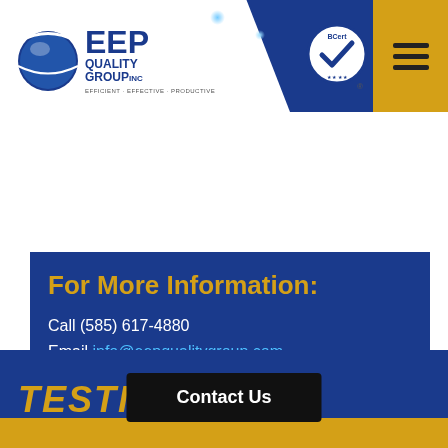[Figure (logo): EEP Quality Group Inc logo with tagline Efficient Effective Productive, BCert certification badge, and hamburger menu icon on blue header bar]
For More Information:
Call (585) 617-4880
Email info@eepqualitygroup.com
GRANT OPPORTUNITIES
We specialize in aligning clients with best-fit grant opportunities!
TESTIMONIALS
Contact Us